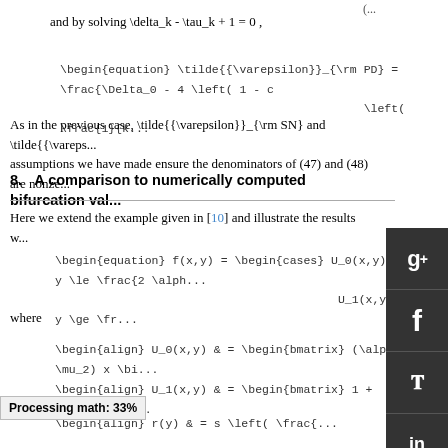and by solving \delta_k - \tau_k + 1 = 0 ,
\begin{equation} \tilde{{\varepsilon}}_{\rm PD} = \frac{\Delta_0 - 4 \left( 1 - c... \left( \frac{1}{k...
As in the previous case, \tilde{{\varepsilon}}_{\rm SN} and \tilde{{\vareps... assumptions we have made ensure the denominators of (47) and (48) are nonze...
8.   A comparison to numerically computed bifurcation val...
Here we extend the example given in [10] and illustrate the results w...
\begin{equation} f(x,y) = \begin{cases} U_0(x,y), & y \le \frac{2 \alph...
                                      U_1(x,y), & y \ge \fr...
where
\begin{align} U_0(x,y) & = \begin{bmatrix} (\alpha + \mu_2) x \bi...
\begin{align} U_1(x,y) & = \begin{bmatrix} 1 + c_{2,0} (y-...
\begin{align} r(y) & = s \left( \frac{...